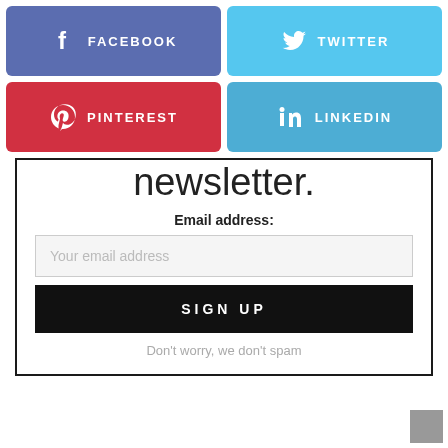[Figure (other): Facebook social share button (blue/purple background, f icon, FACEBOOK text)]
[Figure (other): Twitter social share button (light blue background, bird icon, TWITTER text)]
[Figure (other): Pinterest social share button (red background, P icon, PINTEREST text)]
[Figure (other): LinkedIn social share button (blue background, in icon, LINKEDIN text)]
newsletter.
Email address:
Your email address
SIGN UP
Don't worry, we don't spam